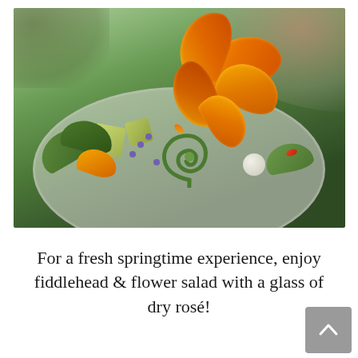[Figure (photo): Close-up photograph of a fiddlehead and flower salad served in a white bowl, garnished with large orange nasturtium petals, small purple borage flowers, avocado chunks, a white sphere (likely a lychee or similar), green fiddlehead fern coils, and mixed greens. A blurred pink drink is visible in the background upper right.]
For a fresh springtime experience, enjoy fiddlehead & flower salad with a glass of dry rosé!